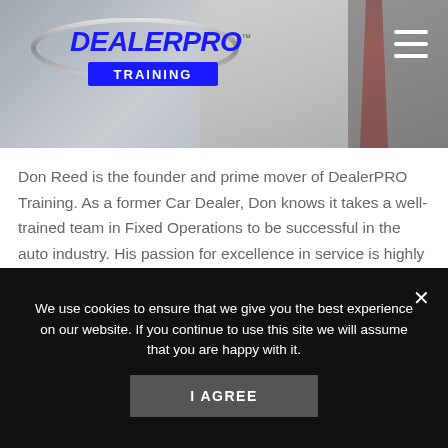[Figure (photo): DealerPRO Training website header with logo on left, hamburger menu icon on right, background showing a person in a suit with a red tie]
Don Reed is the founder and prime mover of DealerPRO Training. As a former Car Dealer, Don knows it takes a well-trained team in Fixed Operations to be successful in the auto industry. His passion for excellence in service is highly contagious and is why Dealers across the nation consistently vote Don's ideas to be among the best they've ever heard in Fixed Ops.
We use cookies to ensure that we give you the best experience on our website. If you continue to use this site we will assume that you are happy with it.
I AGREE